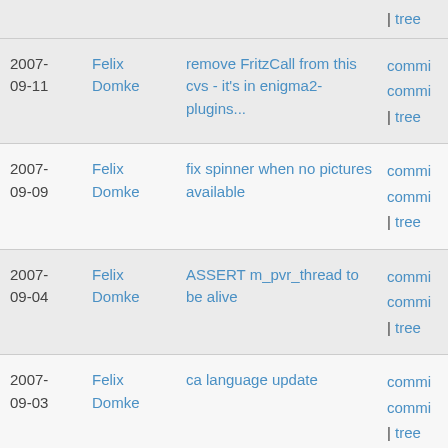| tree
2007-09-11 Felix Domke remove FritzCall from this cvs - it's in enigma2-plugins... commi commi | tree
2007-09-09 Felix Domke fix spinner when no pictures available commi commi | tree
2007-09-04 Felix Domke ASSERT m_pvr_thread to be alive commi commi | tree
2007-09-03 Felix Domke ca language update commi commi | tree
2007-09-03 Felix Domke use show_infobar_on_skip instead of on_zap when seeking commi commi | tree
2007-08-30 Felix Domke implement 'setup modes' (simple, intermediate, expert) commi commi